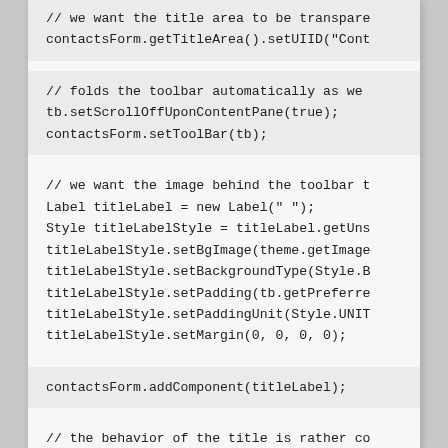// we want the title area to be transpare
contactsForm.getTitleArea().setUIID("Cont
// folds the toolbar automatically as we
tb.setScrollOffUponContentPane(true);
contactsForm.setToolBar(tb);
// we want the image behind the toolbar t
Label titleLabel = new Label(" ");
Style titleLabelStyle = titleLabel.getUns
titleLabelStyle.setBgImage(theme.getImage
titleLabelStyle.setBackgroundType(Style.B
titleLabelStyle.setPadding(tb.getPreferr e
titleLabelStyle.setPaddingUnit(Style.UNIT
titleLabelStyle.setMargin(0, 0, 0, 0);
contactsForm.addComponent(titleLabel);
// the behavior of the title is rather co
tb.setTitleComponent(createTitleComponent
InfiniteProgress ip = new InfiniteProgres
contactsForm.addComponent(ip);